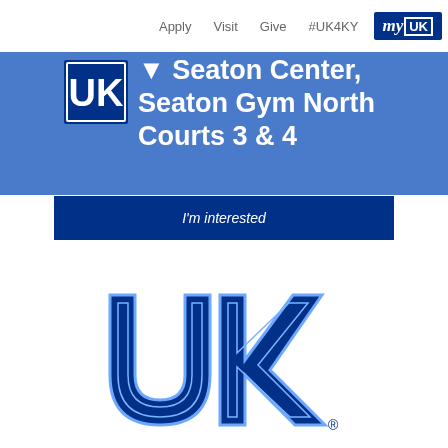Apply   Visit   Give   #UK4KY   myUK
Seaton Center, Seaton Gym North Courts 3 & 4
I'm interested
[Figure (logo): University of Kentucky UK interlocking logo, large blue on white background]